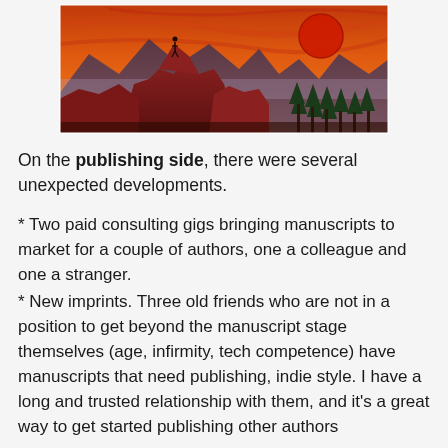[Figure (illustration): Fantasy landscape painting with mountains, red rocks, pine trees, a figure standing on a cliff, and a large red moon against an orange sky]
On the publishing side, there were several unexpected developments.
* Two paid consulting gigs bringing manuscripts to market for a couple of authors, one a colleague and one a stranger.
* New imprints. Three old friends who are not in a position to get beyond the manuscript stage themselves (age, infirmity, tech competence) have manuscripts that need publishing, indie style. I have a long and trusted relationship with them, and it's a great way to get started publishing other authors